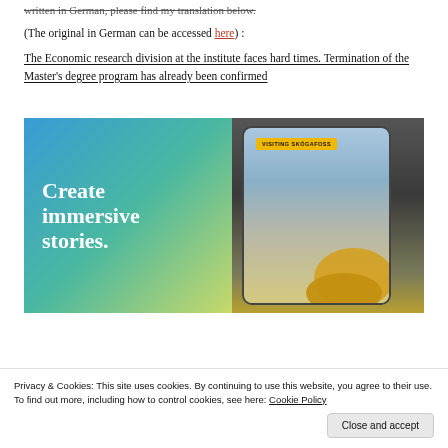(The original in German can be accessed here) :
The Economic research division at the institute faces hard times. Termination of the Master’s degree program has already been confirmed
[Figure (illustration): Advertisement banner with blue-green gradient background on the left with white serif text reading 'Create immersive stories.' and on the right a phone screen mockup showing 'VISITING SKÓGAFOSS' label and a waterfall/nature scene with a person in a yellow jacket.]
Privacy & Cookies: This site uses cookies. By continuing to use this website, you agree to their use.
To find out more, including how to control cookies, see here: Cookie Policy
Close and accept